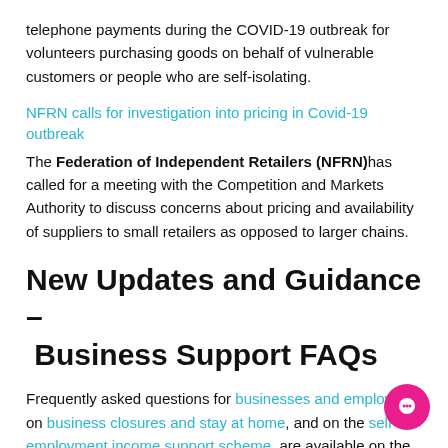telephone payments during the COVID-19 outbreak for volunteers purchasing goods on behalf of vulnerable customers or people who are self-isolating.
NFRN calls for investigation into pricing in Covid-19 outbreak
The Federation of Independent Retailers (NFRN) has called for a meeting with the Competition and Markets Authority to discuss concerns about pricing and availability of suppliers to small retailers as opposed to larger chains.
New Updates and Guidance – Business Support FAQs
Frequently asked questions for businesses and employers, on business closures and stay at home, and on the self-employment income support scheme, are available on the business support website.